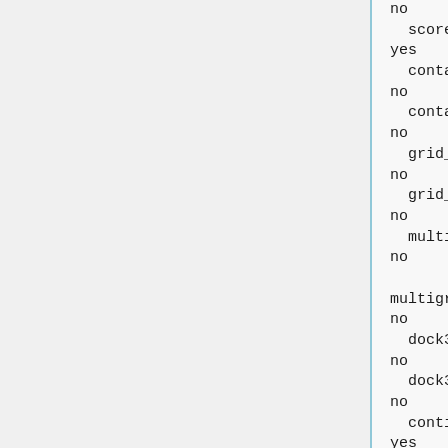no
  score_molecules
yes
  contact_score_primary
no
  contact_score_secondary
no
  grid_score_primary
no
  grid_score_secondary
no
  multigrid_score_primary
no

multigrid_score_secondary
no
  dock3.5_score_primary
no
  dock3.5_score_secondary
no
  continuous_score_primary
yes

continuous_score_secondary
no